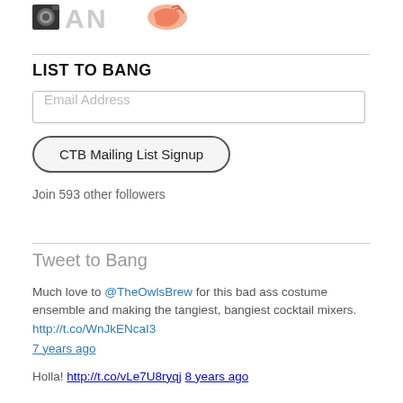[Figure (logo): Partial logo image showing icons including a camera/lens, text letters A N, and a shrimp/seafood graphic]
LIST TO BANG
Email Address (input field)
CTB Mailing List Signup (button)
Join 593 other followers
Tweet to Bang
Much love to @TheOwlsBrew for this bad ass costume ensemble and making the tangiest, bangiest cocktail mixers. http://t.co/WnJkENcaI3
7 years ago
Holla! http://t.co/vLe7U8ryqj 8 years ago